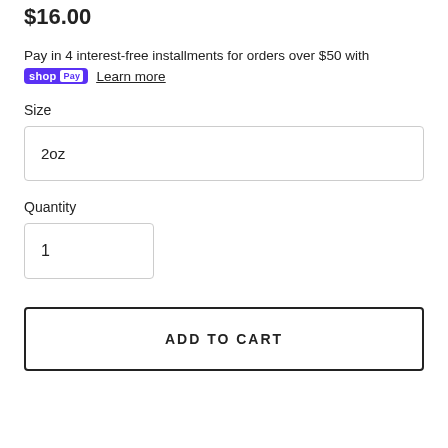$16.00
Pay in 4 interest-free installments for orders over $50 with shop Pay  Learn more
Size
2oz
Quantity
1
ADD TO CART